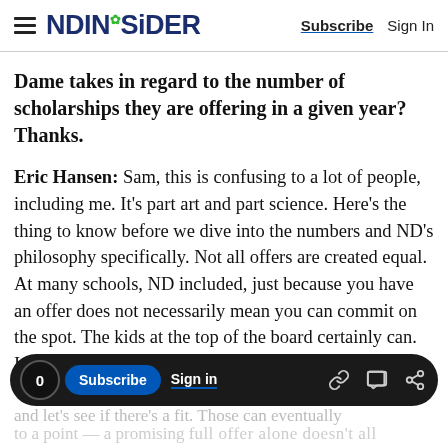NDINSiDER   Subscribe   Sign In
Dame takes in regard to the number of scholarships they are offering in a given year? Thanks.
Eric Hansen: Sam, this is confusing to a lot of people, including me. It's part art and part science. Here's the thing to know before we dive into the numbers and ND's philosophy specifically. Not all offers are created equal. At many schools, ND included, just because you have an offer does not necessarily mean you can commit on the spot. The kids at the top of the board certainly can. In other cases, it can be as
0  Subscribe  Sign in